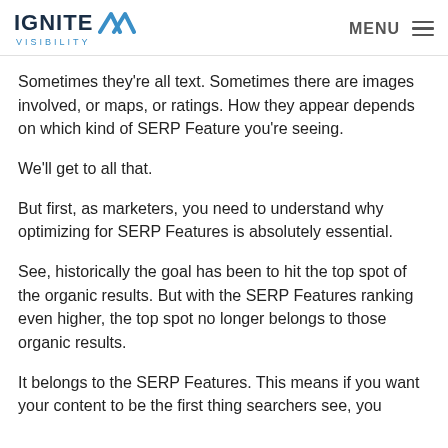IGNITE VISIBILITY | MENU
Sometimes they’re all text. Sometimes there are images involved, or maps, or ratings. How they appear depends on which kind of SERP Feature you’re seeing.
We’ll get to all that.
But first, as marketers, you need to understand why optimizing for SERP Features is absolutely essential.
See, historically the goal has been to hit the top spot of the organic results. But with the SERP Features ranking even higher, the top spot no longer belongs to those organic results.
It belongs to the SERP Features. This means if you want your content to be the first thing searchers see, you